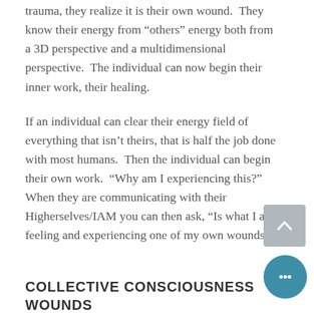trauma, they realize it is their own wound.  They know their energy from “others” energy both from a 3D perspective and a multidimensional perspective.  The individual can now begin their inner work, their healing.
If an individual can clear their energy field of everything that isn’t theirs, that is half the job done with most humans.  Then the individual can begin their own work.  “Why am I experiencing this?” When they are communicating with their Higherselves/IAM you can then ask, “Is what I am feeling and experiencing one of my own wounds?”
COLLECTIVE CONSCIOUSNESS WOUNDS